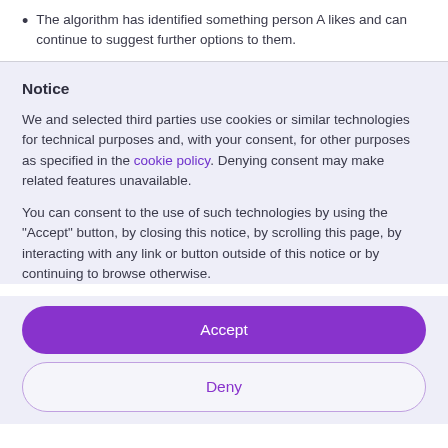The algorithm has identified something person A likes and can continue to suggest further options to them.
Notice
We and selected third parties use cookies or similar technologies for technical purposes and, with your consent, for other purposes as specified in the cookie policy. Denying consent may make related features unavailable.
You can consent to the use of such technologies by using the "Accept" button, by closing this notice, by scrolling this page, by interacting with any link or button outside of this notice or by continuing to browse otherwise.
[Figure (screenshot): Accept button — purple rounded rectangle with white text]
[Figure (screenshot): Deny button — white rounded rectangle with purple text and purple border]